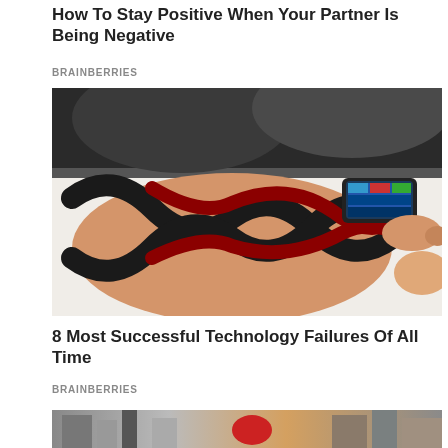How To Stay Positive When Your Partner Is Being Negative
BRAINBERRIES
[Figure (photo): A person's forearm with a futuristic wearable tech device embedded in the skin, featuring black and red infinity-symbol-like design patterns, and another hand pointing at the device's small screen.]
8 Most Successful Technology Failures Of All Time
BRAINBERRIES
[Figure (photo): Partial view of a street scene with buildings and structures, partially cut off at the bottom of the page.]